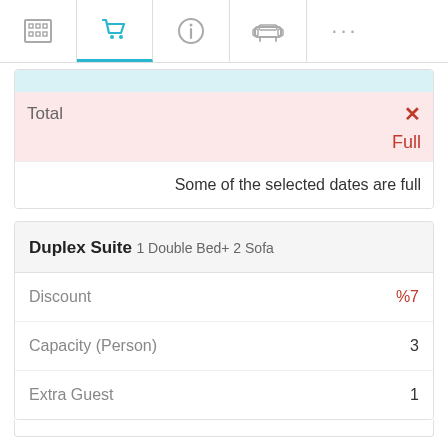Navigation bar with hotel, cart (active), info, sofa, and more icons
| Label | Value |
| --- | --- |
| Total | ✕ |
|  | Full |
|  | Some of the selected dates are full |
| Label | Value |
| --- | --- |
| Duplex Suite 1 Double Bed+ 2 Sofa |  |
| Discount | %7 |
| Capacity (Person) | 3 |
| Extra Guest | 1 |